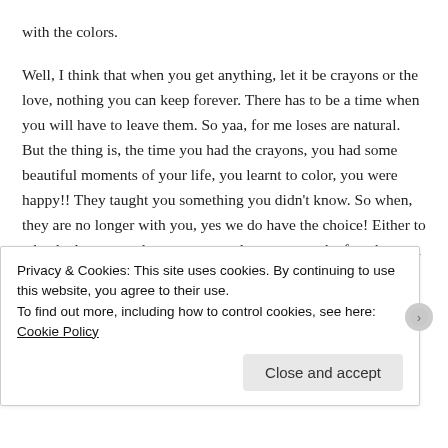with the colors.
Well, I think that when you get anything, let it be crayons or the love, nothing you can keep forever. There has to be a time when you will have to leave them. So yaa, for me loses are natural. But the thing is, the time you had the crayons, you had some beautiful moments of your life, you learnt to color, you were happy!! They taught you something you didn't know. So when, they are no longer with you, yes we do have the choice! Either to take the lessons and move on or to lament upon the fact that you can't color anymore!!
Liked by 5 people
Privacy & Cookies: This site uses cookies. By continuing to use this website, you agree to their use. To find out more, including how to control cookies, see here: Cookie Policy